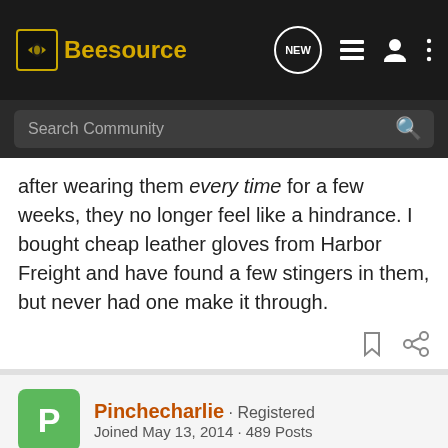Beesource
after wearing them every time for a few weeks, they no longer feel like a hindrance. I bought cheap leather gloves from Harbor Freight and have found a few stingers in them, but never had one make it through.
Pinchecharlie · Registered
Joined May 13, 2014 · 489 Posts
#11 · Aug 8, 2014
I use my tig welding gloves, they are tight and pliable and elbow deep. The bees don't care about them and I have good dexterity and when your done you can weld on your hot rod or